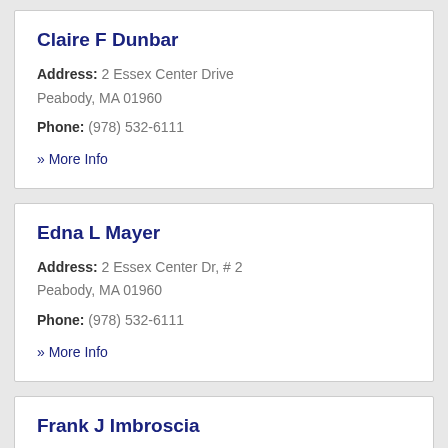Claire F Dunbar
Address: 2 Essex Center Drive
Peabody, MA 01960
Phone: (978) 532-6111
» More Info
Edna L Mayer
Address: 2 Essex Center Dr, # 2
Peabody, MA 01960
Phone: (978) 532-6111
» More Info
Frank J Imbroscia